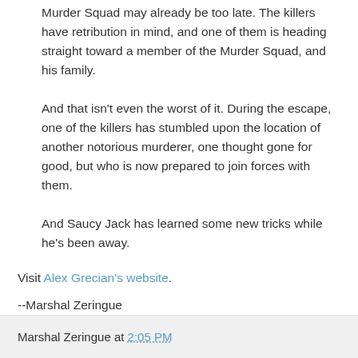Murder Squad may already be too late. The killers have retribution in mind, and one of them is heading straight toward a member of the Murder Squad, and his family.
And that isn't even the worst of it. During the escape, one of the killers has stumbled upon the location of another notorious murderer, one thought gone for good, but who is now prepared to join forces with them.
And Saucy Jack has learned some new tricks while he's been away.
Visit Alex Grecian's website.
--Marshal Zeringue
Marshal Zeringue at 2:05 PM